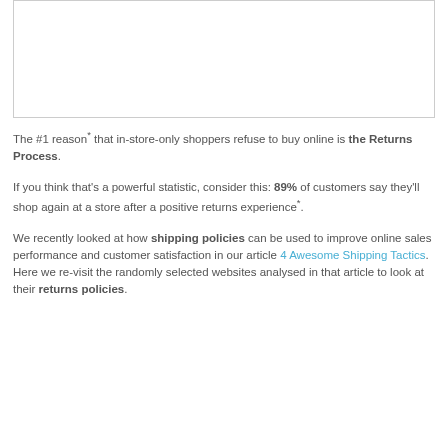[Figure (other): Empty white image box with light border]
The #1 reason* that in-store-only shoppers refuse to buy online is the Returns Process.
If you think that's a powerful statistic, consider this: 89% of customers say they'll shop again at a store after a positive returns experience*.
We recently looked at how shipping policies can be used to improve online sales performance and customer satisfaction in our article 4 Awesome Shipping Tactics. Here we re-visit the randomly selected websites analysed in that article to look at their returns policies.